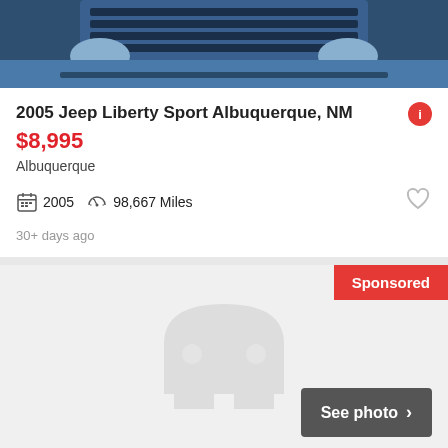[Figure (photo): Front grille and headlights of a blue Jeep Liberty SUV]
2005 Jeep Liberty Sport Albuquerque, NM
$8,995
Albuquerque
2005  98,667 Miles
30+ days ago
[Figure (illustration): Placeholder car silhouette icon in light gray on gray background with Sponsored badge and See photo button]
2005 Jeep Liberty Sport Van Nuys, CA